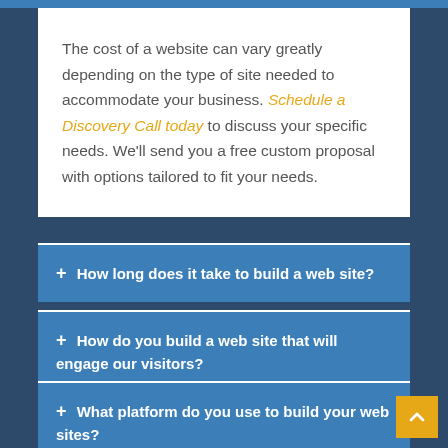The cost of a website can vary greatly depending on the type of site needed to accommodate your business. Schedule a Discovery Call today to discuss your specific needs. We'll send you a free custom proposal with options tailored to fit your needs.
+ How long does it take to build a web site?
+ How do you build a web site that will engage our visitors?
+ What platform do you use to build your web sites?
+ Will I be able to make edits once you are done with the design?